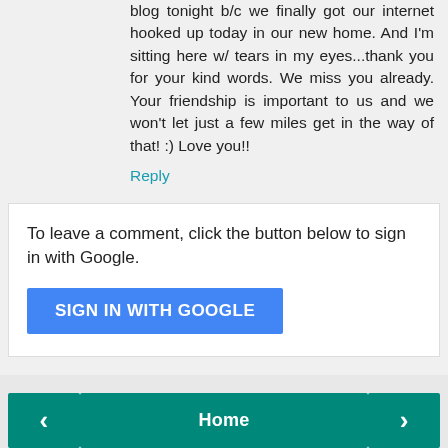blog tonight b/c we finally got our internet hooked up today in our new home. And I'm sitting here w/ tears in my eyes...thank you for your kind words. We miss you already. Your friendship is important to us and we won't let just a few miles get in the way of that! :) Love you!!
Reply
To leave a comment, click the button below to sign in with Google.
[Figure (screenshot): Blue 'SIGN IN WITH GOOGLE' button]
[Figure (screenshot): Navigation bar with left arrow, Home button, and right arrow buttons in teal]
View web version
THE LADY BEHIND THE SCREEN
Meg
Leawood, KS